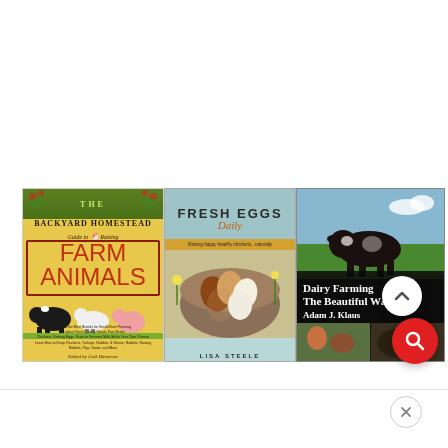[Figure (illustration): Three book covers displayed side by side: 1) 'The Backyard Homestead Guide to Raising Farm Animals' edited by Gail Damerow - illustrated cover with farm animals; 2) 'Fresh Eggs Daily' by Lisa Steele - photo of eggs in a bowl on a teal background; 3) 'Dairy Farming The Beautiful Way' by Adam J. Klaus - photo of a cow in a field with additional photos below. UI elements include an up-arrow button, a red search button, and a close (X) button.]